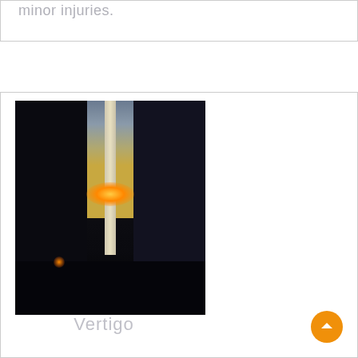minor injuries.
[Figure (photo): Urban street photography at sunset showing tall city buildings flanking a central tower/spire, with warm sunset light glowing between the buildings and crowds on the street below.]
Vertigo